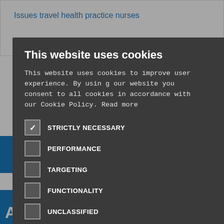Issues travel health practice nurses
This website uses cookies
This website uses cookies to improve user experience. By using our website you consent to all cookies in accordance with our Cookie Policy. Read more
STRICTLY NECESSARY (checked)
PERFORMANCE (unchecked)
TARGETING (unchecked)
FUNCTIONALITY (unchecked)
UNCLASSIFIED (unchecked)
ACCEPT ALL
DECLINE ALL
SHOW DETAILS
ABOUT